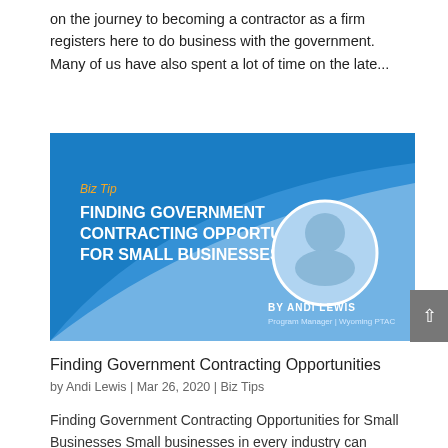on the journey to becoming a contractor as a firm registers here to do business with the government. Many of us have also spent a lot of time on the late...
[Figure (infographic): Blue banner graphic titled 'Biz Tip — Finding Government Contracting Opportunities for Small Businesses' with a circular photo of Andi Lewis, Program Manager at Wyoming PTAC.]
Finding Government Contracting Opportunities
by Andi Lewis | Mar 26, 2020 | Biz Tips
Finding Government Contracting Opportunities for Small Businesses Small businesses in every industry can